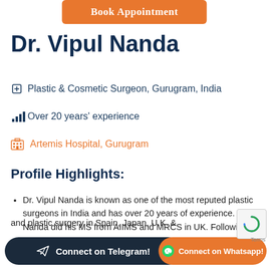[Figure (other): Orange 'Book Appointment' button at top of page]
Dr. Vipul Nanda
Plastic & Cosmetic Surgeon, Gurugram, India
Over 20 years' experience
Artemis Hospital, Gurugram
Profile Highlights:
Dr. Vipul Nanda is known as one of the most reputed plastic surgeons in India and has over 20 years of experience. Dr. Nanda did his MS from AIIMS and MRCS in UK. Following MCh from BCh (2022) he underwent advanced and plastic surgery in Spain, Japan, U.K. &
[Figure (other): Connect on Telegram dark button at bottom]
[Figure (other): Connect on Whatsapp orange button at bottom right]